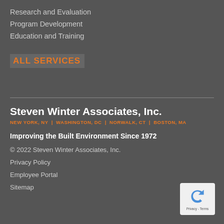Research and Evaluation
Program Development
Education and Training
ALL SERVICES
Steven Winter Associates, Inc.
NEW YORK, NY | WASHINGTON, DC | NORWALK, CT | BOSTON, MA
Improving the Built Environment Since 1972
© 2022 Steven Winter Associates, Inc.
Privacy Policy
Employee Portal
Sitemap
[Figure (logo): reCAPTCHA badge with blue arrow icon and Privacy - Terms text]